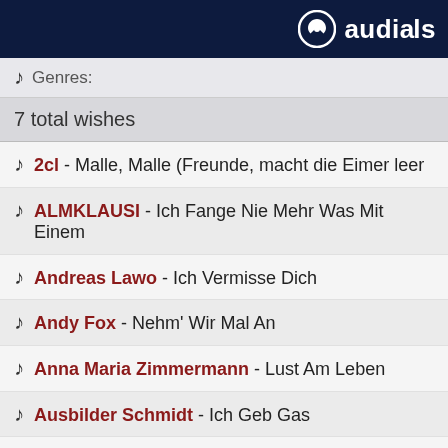[Figure (logo): Audials logo with circular icon and text 'audials' on dark navy background]
Genres:
7 total wishes
2cl - Malle, Malle (Freunde, macht die Eimer leer
ALMKLAUSI - Ich Fange Nie Mehr Was Mit Einem
Andreas Lawo - Ich Vermisse Dich
Andy Fox - Nehm' Wir Mal An
Anna Maria Zimmermann - Lust Am Leben
Ausbilder Schmidt - Ich Geb Gas
Axel Fischer - Du Tr